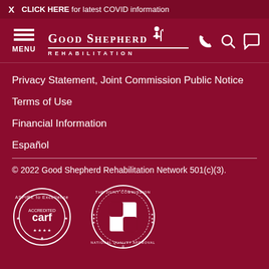X  CLICK HERE for latest COVID information
[Figure (logo): Good Shepherd Rehabilitation logo with menu icon and navigation icons (phone, search, chat)]
Privacy Statement, Joint Commission Public Notice
Terms of Use
Financial Information
Español
© 2022 Good Shepherd Rehabilitation Network 501(c)(3).
[Figure (logo): CARF Accredited - ASPIRE to Excellence badge (circular stamp design)]
[Figure (logo): The Joint Commission National Quality Approval badge (circular stamp with checkered shield)]